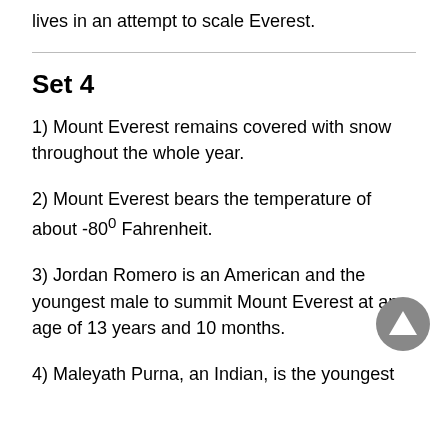lives in an attempt to scale Everest.
Set 4
1) Mount Everest remains covered with snow throughout the whole year.
2) Mount Everest bears the temperature of about -80° Fahrenheit.
3) Jordan Romero is an American and the youngest male to summit Mount Everest at an age of 13 years and 10 months.
4) Maleyath Purna, an Indian, is the youngest